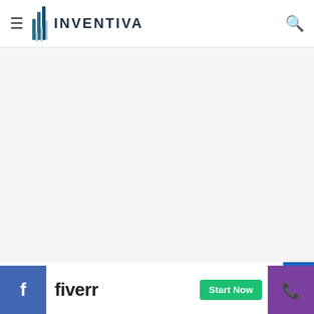INVENTIVA
[Figure (other): Advertisement banner area (blank/white space)]
See also  Indian food delivery startup Zomato cuts 13%...
[Figure (other): Fiverr advertisement banner with 'fiverr' logo and 'Start Now' green button, flanked by Facebook blue button on left and phone/purple button on right]